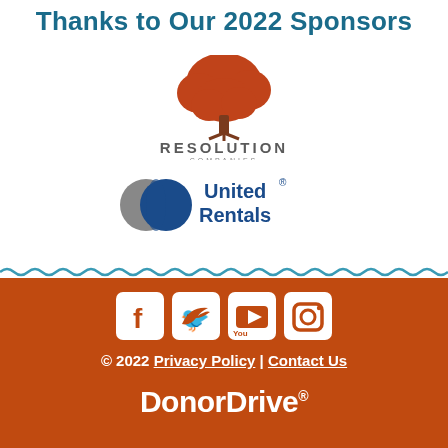Thanks to Our 2022 Sponsors
[Figure (logo): Resolution Companies logo — red oak tree above text 'RESOLUTION COMPANIES']
[Figure (logo): United Rentals logo — blue and grey circle icon beside bold text 'United Rentals']
[Figure (other): Wavy blue decorative divider line]
[Figure (other): Social media icons: Facebook, Twitter, YouTube, Instagram — white icons on orange background]
© 2022 Privacy Policy | Contact Us
DonorDrive®